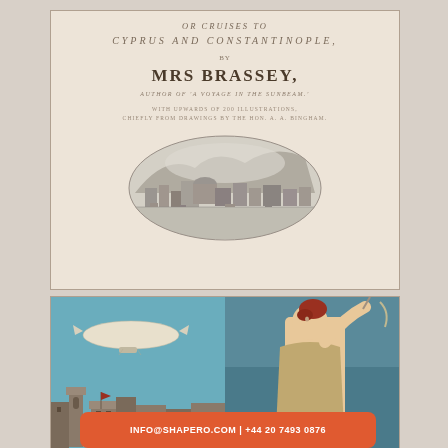[Figure (illustration): Title page of a book: 'Or Cruises to Cyprus and Constantinople, by Mrs Brassey, Author of A Voyage in the Sunbeam, with upwards of 200 illustrations chiefly from drawings by the Hon. A.A. Bingham.' with an oval vignette engraving of a coastal city panorama.]
[Figure (illustration): Two images: left shows a blimp/dirigible in a teal sky above building silhouettes; right shows a partially visible classical female figure raising her arm against a blue background.]
INFO@SHAPERO.COM | +44 20 7493 0876